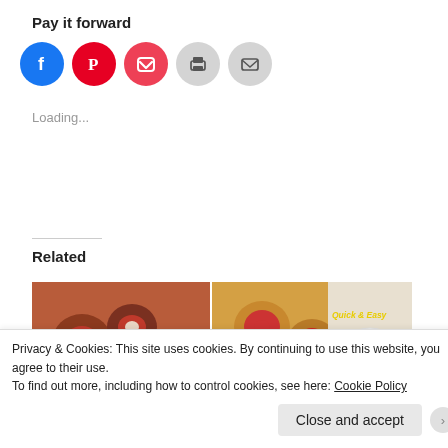Pay it forward
[Figure (infographic): Social sharing icons: Facebook (blue circle), Pinterest (red circle), Pocket (red circle), Print (grey circle), Email (grey circle)]
Loading...
Related
[Figure (photo): Three related food images side by side: stuffed mushrooms or similar appetizers, mini pizzas or heart-shaped pastries, and a bowl of Aloo Gobi (potato and cauliflower curry) with text 'Quick & Easy Aloo Gobi']
Privacy & Cookies: This site uses cookies. By continuing to use this website, you agree to their use.
To find out more, including how to control cookies, see here: Cookie Policy